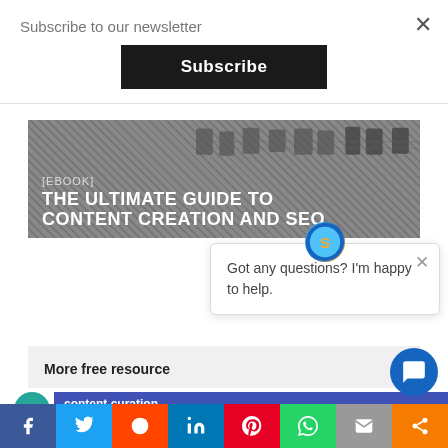Subscribe to our newsletter
Subscribe
[Figure (screenshot): Banner image showing circuit board background with text: [EBOOK] THE ULTIMATE GUIDE TO CONTENT CREATION AND SEO]
Got any questions? I'm happy to help.
More free resource
content curation
[Figure (screenshot): Social sharing bar with Facebook, Twitter, Reddit, LinkedIn, Pinterest, WhatsApp, Email, and Share icons]